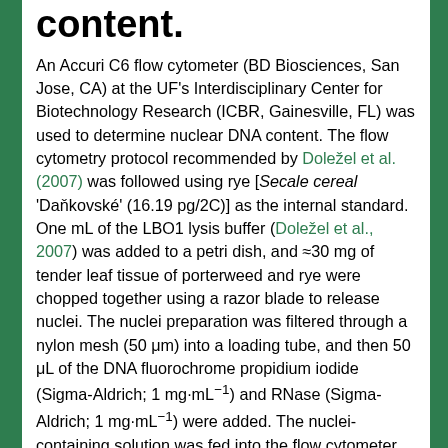content.
An Accuri C6 flow cytometer (BD Biosciences, San Jose, CA) at the UF's Interdisciplinary Center for Biotechnology Research (ICBR, Gainesville, FL) was used to determine nuclear DNA content. The flow cytometry protocol recommended by Doležel et al. (2007) was followed using rye [Secale cereal 'Daňkovské' (16.19 pg/2C)] as the internal standard. One mL of the LBO1 lysis buffer (Doležel et al., 2007) was added to a petri dish, and ≈30 mg of tender leaf tissue of porterweed and rye were chopped together using a razor blade to release nuclei. The nuclei preparation was filtered through a nylon mesh (50 μm) into a loading tube, and then 50 μL of the DNA fluorochrome propidium iodide (Sigma-Aldrich; 1 mg·mL⁻¹) and RNase (Sigma-Aldrich; 1 mg·mL⁻¹) were added. The nuclei-containing solution was fed into the flow cytometer. Three flow cytometrical analyses were performed per plant solution and...